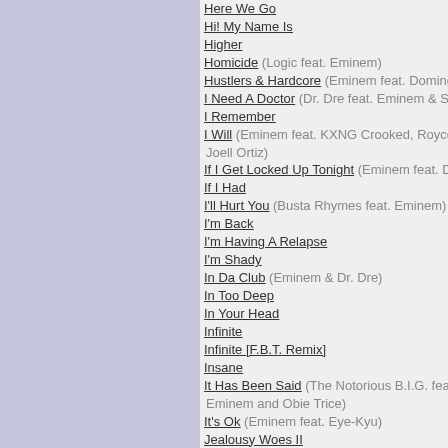Here We Go
Hi! My Name Is
Higher
Homicide (Logic feat. Eminem)
Hustlers & Hardcore (Eminem feat. Domingo)
I Need A Doctor (Dr. Dre feat. Eminem & Skylar G…)
I Remember
I Will (Eminem feat. KXNG Crooked, Royce Da 5'… Joell Ortiz)
If I Get Locked Up Tonight (Eminem feat. Dr. Dre)
If I Had
I'll Hurt You (Busta Rhymes feat. Eminem)
I'm Back
I'm Having A Relapse
I'm Shady
In Da Club (Eminem & Dr. Dre)
In Too Deep
In Your Head
Infinite
Infinite [F.B.T. Remix]
Insane
It Has Been Said (The Notorious B.I.G. feat. Didd… Eminem and Obie Trice)
It's Ok (Eminem feat. Eye-Kyu)
Jealousy Woes II
Jimmy Crack Corn (Eminem & 50 Cent)
Jimmy, Brian and Mike
Just Don't Give A Fuck
Just Don't Give A Fuck (Eminem feat. Frogg)
Just Lose It
Kamikaze
Kids
Kill For You (Skylar Grey feat. Eminem)
Kill You
Killer
Killshot
Kim
Kings Never Die (Eminem feat. Gwen Stefani)